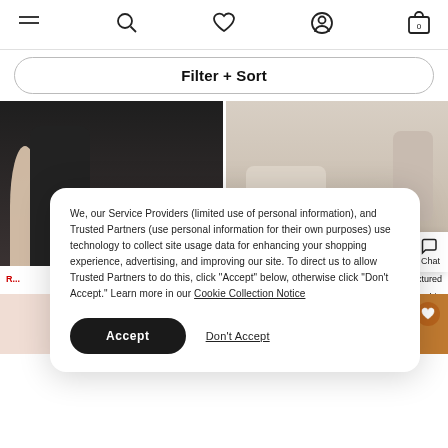Navigation bar with hamburger menu, search, heart/wishlist, account, and cart (0) icons
Filter + Sort
[Figure (photo): Two product photos side by side: left shows a person in a black outfit, right shows a person in a beige/cream outfit seated]
We, our Service Providers (limited use of personal information), and Trusted Partners (use personal information for their own purposes) use technology to collect site usage data for enhancing your shopping experience, advertising, and improving our site. To direct us to allow Trusted Partners to do this, click "Accept" below, otherwise click "Don't Accept." Learn more in our Cookie Collection Notice
Accept
Don't Accept
[Figure (photo): Bottom row of product photos: pink/peach garment on left, mustard/orange knit on right with heart icon]